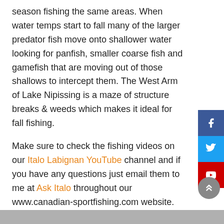season fishing the same areas. When water temps start to fall many of the larger predator fish move onto shallower water looking for panfish, smaller coarse fish and gamefish that are moving out of those shallows to intercept them. The West Arm of Lake Nipissing is a maze of structure breaks & weeds which makes it ideal for fall fishing.
Make sure to check the fishing videos on our Italo Labignan YouTube channel and if you have any questions just email them to me at Ask Italo throughout our www.canadian-sportfishing.com website.
Italo's Blog